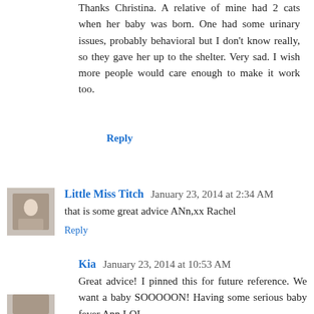Thanks Christina. A relative of mine had 2 cats when her baby was born. One had some urinary issues, probably behavioral but I don't know really, so they gave her up to the shelter. Very sad. I wish more people would care enough to make it work too.
Reply
Little Miss Titch  January 23, 2014 at 2:34 AM
that is some great advice ANn,xx Rachel
Reply
Kia  January 23, 2014 at 10:53 AM
Great advice! I pinned this for future reference. We want a baby SOOOOON! Having some serious baby fever Ann LOL
Reply